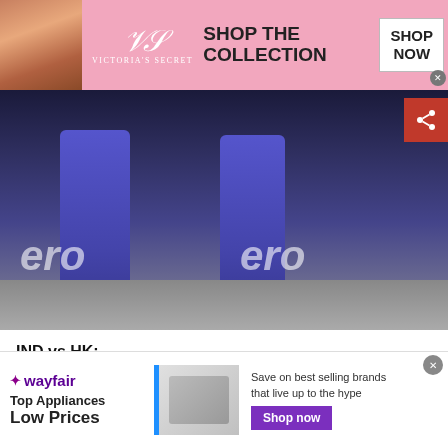[Figure (photo): Victoria's Secret advertisement banner with model, brand logo, 'SHOP THE COLLECTION' text, and 'SHOP NOW' button on pink background]
[Figure (photo): Cricket players in blue uniforms on a cricket field with 'ero' advertisement boards in background. Share button visible top right.]
IND vs HK:                                          ,
                              ,              192
                                                      + More
aaaaaaaa
aaaaaaaa
Match 5
[Figure (photo): Wayfair advertisement: Top Appliances Low Prices, Save on best selling brands that live up to the hype, Shop now button, image of kitchen appliance]